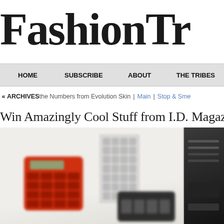FashionTr[ibune] (truncated)
HOME   SUBSCRIBE   ABOUT   THE TRIBES
ARCHIVES  « Back the Numbers from Evolution Skin | Main | Stop & Sme...
Win Amazingly Cool Stuff from I.D. Magazin...
[Figure (photo): Blurry photo of several calculators on a white surface — a red calculator on the left, a grid-style black calculator in the center, a small black calculator in the lower center, and a dark device on the right edge.]